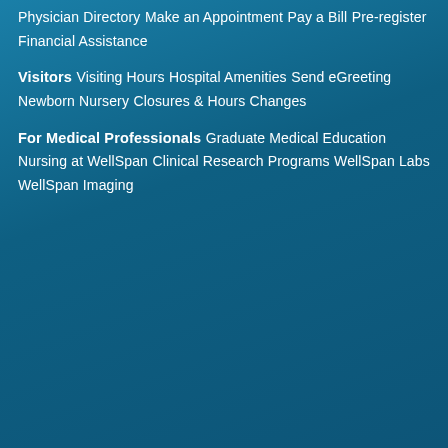Physician Directory
Make an Appointment
Pay a Bill
Pre-register
Financial Assistance
Visitors
Visiting Hours
Hospital Amenities
Send eGreeting
Newborn Nursery
Closures & Hours Changes
For Medical Professionals
Graduate Medical Education
Nursing at WellSpan
Clinical Research Programs
WellSpan Labs
WellSpan Imaging